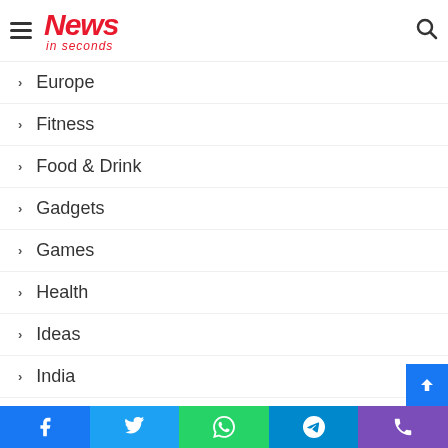News in seconds
Europe
Fitness
Food & Drink
Gadgets
Games
Health
Ideas
India
Innovation
Lifestyle
MLB